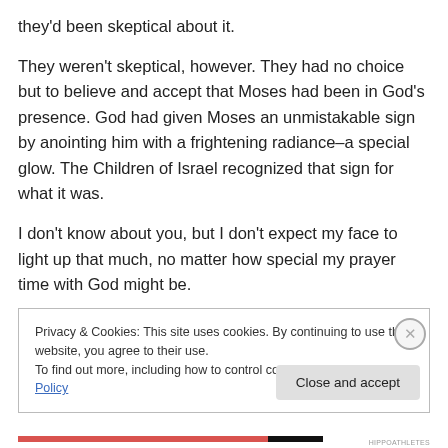they'd been skeptical about it.
They weren't skeptical, however. They had no choice but to believe and accept that Moses had been in God's presence. God had given Moses an unmistakable sign by anointing him with a frightening radiance–a special glow. The Children of Israel recognized that sign for what it was.
I don't know about you, but I don't expect my face to light up that much, no matter how special my prayer time with God might be.
Privacy & Cookies: This site uses cookies. By continuing to use this website, you agree to their use.
To find out more, including how to control cookies, see here: Cookie Policy
Close and accept